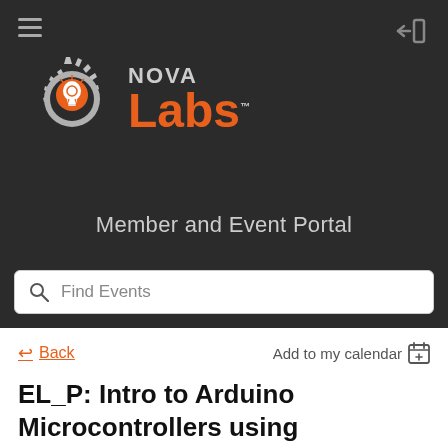[Figure (logo): Nova Labs logo with gear and lightbulb icon, text 'NOVA Labs' in white and orange on dark background]
Member and Event Portal
Find Events
Back
Add to my calendar
EL_P: Intro to Arduino Microcontrollers using TinkerCAD (Online)